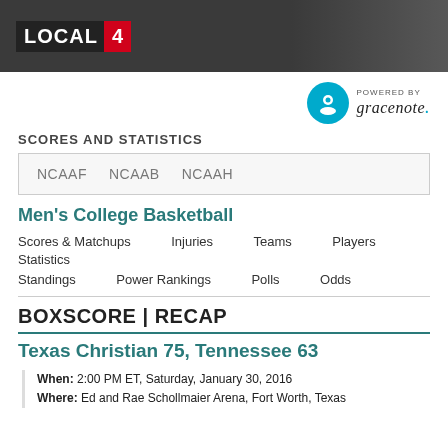LOCAL 4
[Figure (logo): Gracenote logo with blue circle and 'g' icon, text POWERED BY gracenote.]
SCORES AND STATISTICS
| NCAAF | NCAAB | NCAAH |
Men's College Basketball
Scores & Matchups
Injuries
Teams
Players
Statistics
Standings
Power Rankings
Polls
Odds
BOXSCORE | RECAP
Texas Christian 75, Tennessee 63
When: 2:00 PM ET, Saturday, January 30, 2016
Where: Ed and Rae Schollmaier Arena, Fort Worth, Texas